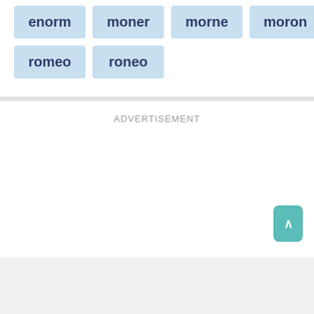enorm
moner
morne
moron
romeo
roneo
ADVERTISEMENT